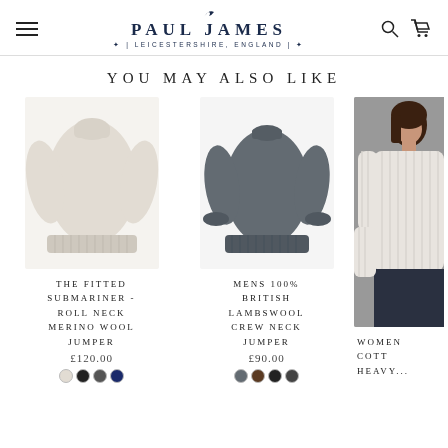Paul James | Leicestershire, England — navigation header with hamburger menu, logo, search and cart icons
YOU MAY ALSO LIKE
[Figure (photo): Cream/beige fitted roll neck merino wool jumper on white background]
THE FITTED SUBMARINER - ROLL NECK MERINO WOOL JUMPER
£120.00
[Figure (photo): Dark grey mens 100% British lambswool crew neck jumper on white background]
MENS 100% BRITISH LAMBSWOOL CREW NECK JUMPER
£90.00
[Figure (photo): Woman wearing a white cotton ribbed jumper, partially cropped, grey background]
WOMEN COTT HEAVY...